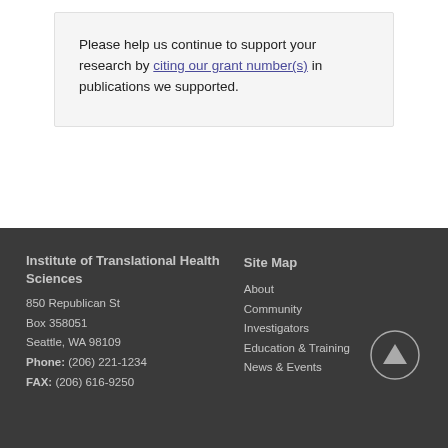Please help us continue to support your research by citing our grant number(s) in publications we supported.
Institute of Translational Health Sciences
850 Republican St
Box 358051
Seattle, WA 98109
Phone: (206) 221-1234
FAX: (206) 616-9250

Site Map
About
Community
Investigators
Education & Training
News & Events